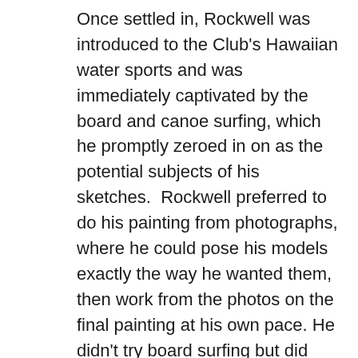Once settled in, Rockwell was introduced to the Club's Hawaiian water sports and was immediately captivated by the board and canoe surfing, which he promptly zeroed in on as the potential subjects of his sketches. Rockwell preferred to do his painting from photographs, where he could pose his models exactly the way he wanted them, then work from the photos on the final painting at his own pace. He didn't try board surfing but did have photos taken of a model, including himself, teetering precariously on a surfboard on an imaginary wave, the board planted firmly on the sand in front of the Club. He did go out for a canoe ride, however, took pictures of Diamond Head across the water and other canoes riding in on waves, and this experience became the subject he ultimately decided to paint.